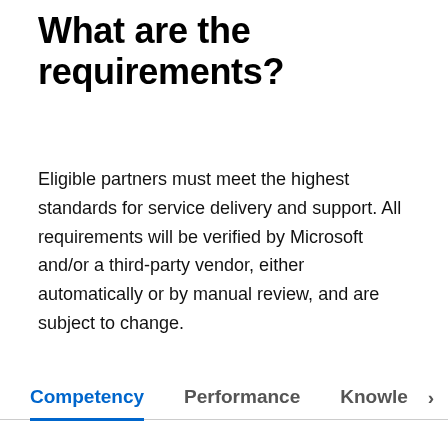What are the requirements?
Eligible partners must meet the highest standards for service delivery and support. All requirements will be verified by Microsoft and/or a third-party vendor, either automatically or by manual review, and are subject to change.
Competency
Performance
Knowle >